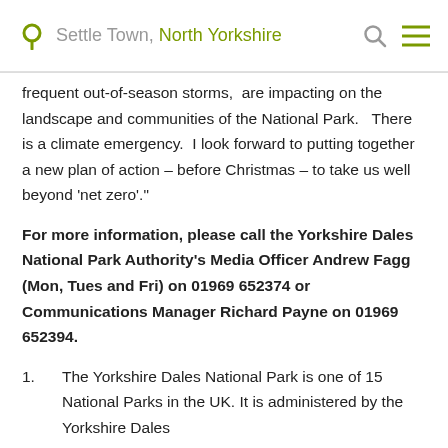Settle Town, North Yorkshire
frequent out-of-season storms,  are impacting on the landscape and communities of the National Park.   There is a climate emergency.  I look forward to putting together a new plan of action – before Christmas – to take us well beyond 'net zero'."
For more information, please call the Yorkshire Dales National Park Authority's Media Officer Andrew Fagg (Mon, Tues and Fri) on 01969 652374 or Communications Manager Richard Payne on 01969 652394.
1.    The Yorkshire Dales National Park is one of 15 National Parks in the UK. It is administered by the Yorkshire Dales